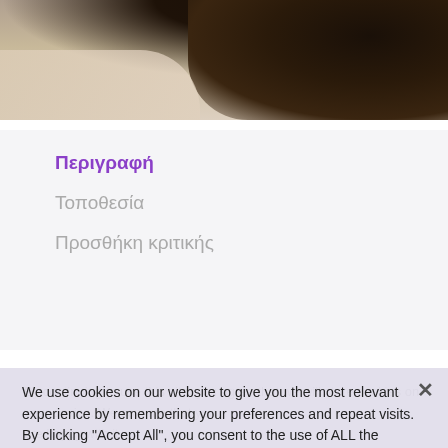[Figure (photo): Top portion of a photo showing a person's dark hair against a light background, viewed from above.]
Περιγραφή
Τοποθεσία
Προσθήκη κριτικής
We use cookies on our website to give you the most relevant experience by remembering your preferences and repeat visits. By clicking "Accept All", you consent to the use of ALL the cookies. However, you may visit "Cookie Settings" to provide a controlled consent.